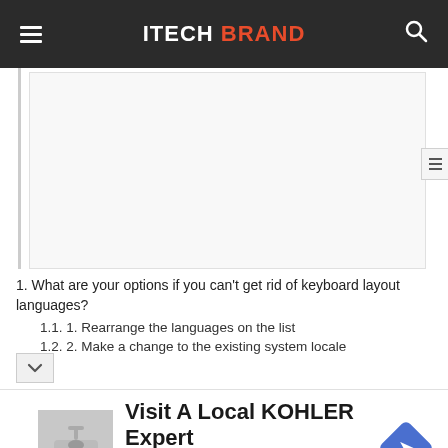ITECH BRAND
[Figure (other): White rectangular advertisement placeholder box with light border]
1. What are your options if you can't get rid of keyboard layout languages?
1.1. 1. Rearrange the languages on the list
1.2. 2. Make a change to the existing system locale
[Figure (other): Advertisement banner: Visit A Local KOHLER Expert – KOHLER Signature Store by GR... with grey image box and blue diamond navigation icon]